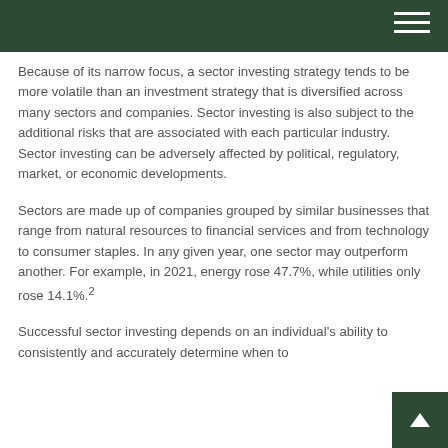Because of its narrow focus, a sector investing strategy tends to be more volatile than an investment strategy that is diversified across many sectors and companies. Sector investing is also subject to the additional risks that are associated with each particular industry. Sector investing can be adversely affected by political, regulatory, market, or economic developments.
Sectors are made up of companies grouped by similar businesses that range from natural resources to financial services and from technology to consumer staples. In any given year, one sector may outperform another. For example, in 2021, energy rose 47.7%, while utilities only rose 14.1%.²
Successful sector investing depends on an individual's ability to consistently and accurately determine when to